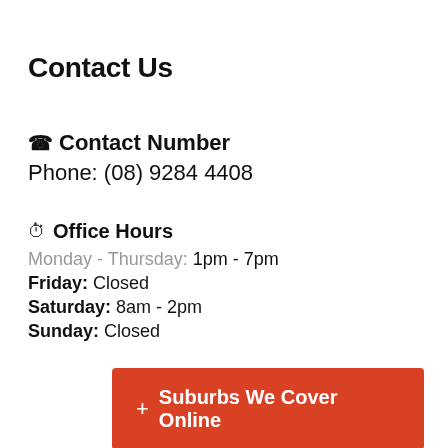Contact Us
Contact Number
Phone: (08) 9284 4408
Office Hours
Monday - Thursday: 1pm - 7pm
Friday: Closed
Saturday: 8am - 2pm
Sunday: Closed
+ Suburbs We Cover Online